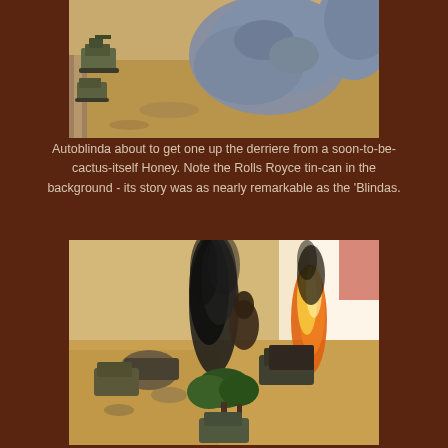[Figure (photo): Wargaming miniatures scene showing armored vehicles (Autoblinda and Honey tank) on a desert terrain with rocks, viewed from above.]
Autoblinda about to get one up the derriere from a soon-to-be-cactus-itself Honey. Note the Rolls Royce tin-can in the background - its story was as nearly remarkable as the 'Blindas.
[Figure (photo): Wargaming miniatures scene showing burning and destroyed vehicles on a desert terrain with smoke effects and trees, depicting a battle scene.]